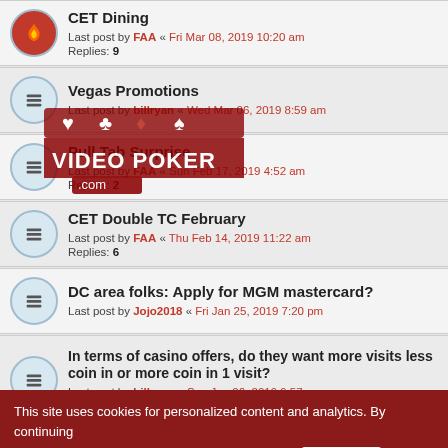CET Dining - Last post by FAA « Fri Mar 08, 2019 10:20 am - Replies: 9
Vegas Promotions - Last post by billryan « Wed Mar 06, 2019 8:59 am
[Figure (logo): VideoPoker.com logo watermark overlay with card suit icons]
Pull Tab Surprise - Last post by FAA « Sun Feb 17, 2019 4:52 am - Replies: 2
CET Double TC February - Last post by FAA « Thu Feb 14, 2019 11:22 am - Replies: 6
DC area folks: Apply for MGM mastercard? - Last post by Jojo2018 « Fri Jan 25, 2019 7:20 pm
In terms of casino offers, do they want more visits less coin in or more coin in 1 visit? - Last post by billryan « Sun Jan 06, 2019 9:57 pm - Replies: 4
Will this be another Boyd brouhaha? - Last post by Doug1 « Mon Dec 31, 2018 8:43 am
This site uses cookies for personalized content and analytics. By continuing to use this site, you agree to this use. Close